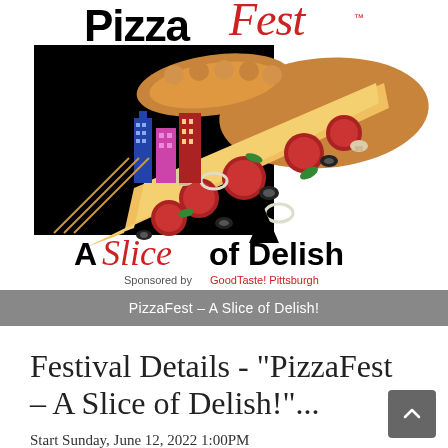[Figure (logo): PizzaFest logo showing a large pizza slice with toppings (pepperoni, mushrooms, olives, peppers) against a black background with city skyline silhouette. Text reads 'Pizza Fest' at top and 'A Slice of Delish' in script. Tagline: 'Sponsored by GoodTaste! Pittsburgh']
PizzaFest – A Slice of Delish!
Festival Details - "PizzaFest – A Slice of Delish!"...
Start Sunday, June 12, 2022 1:00PM